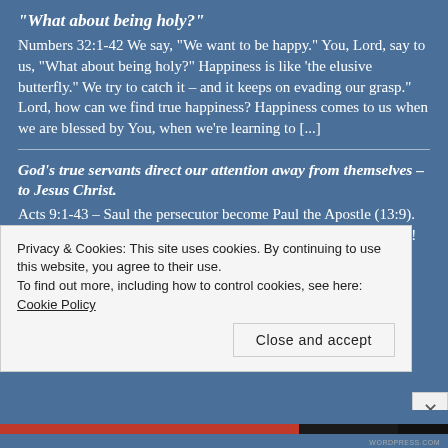“What about being holy?”
Numbers 32:1-42 We say, “We want to be happy.” You, Lord, say to us, “What about being holy?” Happiness is like ‘the elusive butterfly.” We try to catch it – and it keeps on evading our grasp.” Lord, how can we find true happiness? Happiness comes to us when we are blessed by You, when we’re learning to [...]
God’s true servants direct our attention away from themselves – to Jesus Christ.
Acts 9:1-43 – Saul the persecutor become Paul the Apostle (13:9). What a great turning-point this was in the life of the early Church! When we read of Paul’s
Privacy & Cookies: This site uses cookies. By continuing to use this website, you agree to their use.
To find out more, including how to control cookies, see here: Cookie Policy
Close and accept